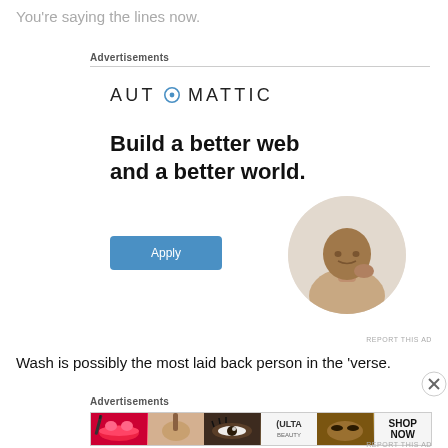You're saying the lines now.
Advertisements
[Figure (infographic): Automattic advertisement: logo at top with circular blue O icon, headline 'Build a better web and a better world.' in bold black text, blue 'Apply' button, and circular photo of a man thinking at a desk on the right]
REPORT THIS AD
Wash is possibly the most laid back person in the 'verse.
Advertisements
[Figure (infographic): Ulta Beauty advertisement banner with makeup imagery (lips, brush, eye), Ulta logo in center, model image, and SHOP NOW text on right]
REPORT THIS AD